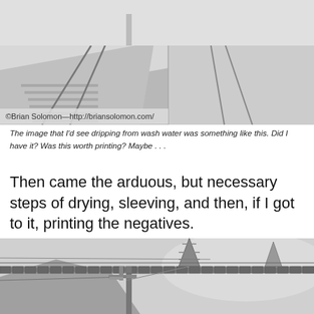[Figure (photo): Black and white photograph of railroad tracks viewed from track level, with a road or platform alongside, receding into the distance. Watermark: ©Brian Solomon—http://briansolomon.com/]
The image that I'd see dripping from wash water was something like this. Did I have it? Was this worth printing? Maybe . . .
Then came the arduous, but necessary steps of drying, sleeving, and then, if I got to it, printing the negatives.
[Figure (photo): Black and white photograph of railway overhead electric catenary infrastructure: a large horizontal gantry bridge spanning multiple tracks, with wires, poles, and a tall lattice pylon in the background. Mountains visible in the distance.]